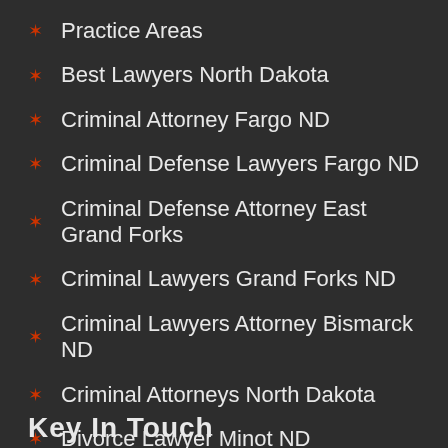Practice Areas
Best Lawyers North Dakota
Criminal Attorney Fargo ND
Criminal Defense Lawyers Fargo ND
Criminal Defense Attorney East Grand Forks
Criminal Lawyers Grand Forks ND
Criminal Lawyers Attorney Bismarck ND
Criminal Attorneys North Dakota
Divorce Lawyer Minot ND
Family Law Fargo ND
Key In Touch